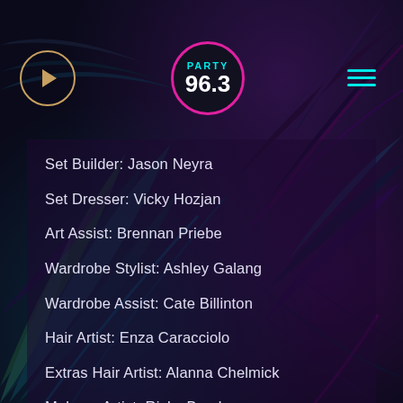[Figure (screenshot): Dark tropical palm leaf background with purple and teal tones]
Party 96.3 radio app header with play button, logo, and hamburger menu
Set Builder: Jason Neyra
Set Dresser: Vicky Hozjan
Art Assist: Brennan Priebe
Wardrobe Stylist: Ashley Galang
Wardrobe Assist: Cate Billinton
Hair Artist: Enza Caracciolo
Extras Hair Artist: Alanna Chelmick
Makeup Artist: Ricky Boudreau
Editor: Tusk